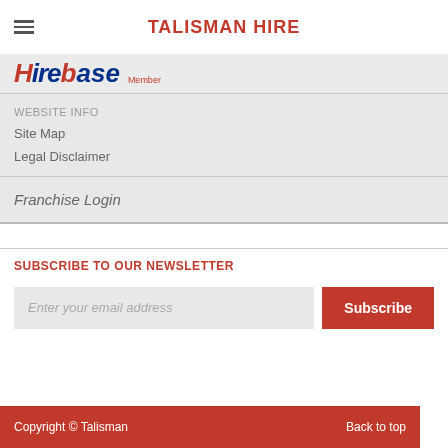TALISMAN HIRE
[Figure (logo): Hirebase Member logo with stylized text and 'Member' label]
WEBSITE INFO
Site Map
Legal Disclaimer
Franchise Login
SUBSCRIBE TO OUR NEWSLETTER
Enter your email address
Subscribe
Copyright © Talisman   Back to top